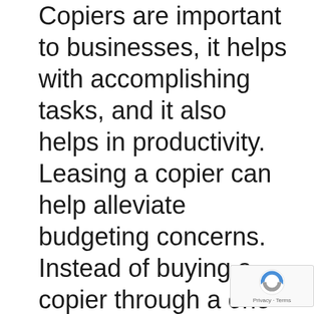Copiers are important to businesses, it helps with accomplishing tasks, and it also helps in productivity. Leasing a copier can help alleviate budgeting concerns. Instead of buying a copier through a one time purchase, you can lease a copier and set a schedule for installments. This can help you arrange your financial resources better. You may even choose the length and the terms of your
[Figure (other): reCAPTCHA badge with Google reCAPTCHA logo and 'Privacy - Terms' text]